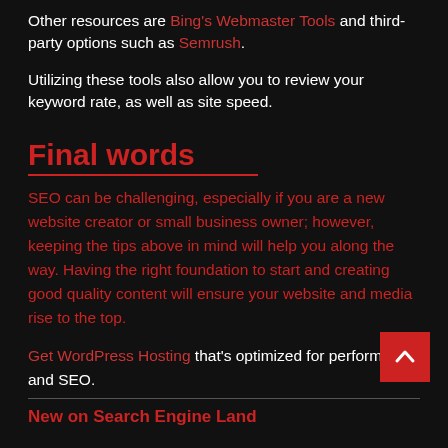Other resources are Bing's Webmaster Tools and third-party options such as Semrush.
Utilizing these tools also allow you to review your keyword rate, as well as site speed.
Final words
SEO can be challenging, especially if you are a new website creator or small business owner; however, keeping the tips above in mind will help you along the way. Having the right foundation to start and creating good quality content will ensure your website and media rise to the top.
Get WordPress Hosting that's optimized for performance and SEO.
New on Search Engine Land